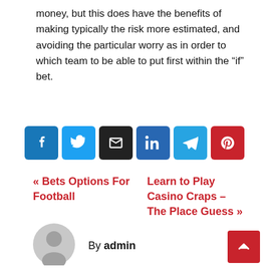money, but this does have the benefits of making typically the risk more estimated, and avoiding the particular worry as in order to which team to be able to put first within the “if” bet.
[Figure (other): Social share buttons row: Facebook, Twitter, Email, LinkedIn, Telegram, Pinterest]
« Bets Options For Football
Learn to Play Casino Craps – The Place Guess »
By admin
[Figure (illustration): Grey circular avatar placeholder icon of a person]